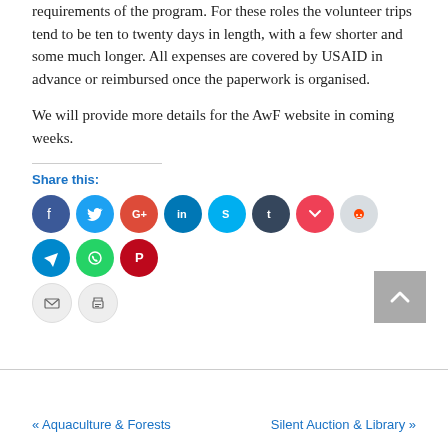requirements of the program. For these roles the volunteer trips tend to be ten to twenty days in length, with a few shorter and some much longer. All expenses are covered by USAID in advance or reimbursed once the paperwork is organised.
We will provide more details for the AwF website in coming weeks.
[Figure (infographic): Share this: social media icons row including Facebook, Twitter, Google+, LinkedIn, Skype, Tumblr, Pocket, Reddit, Telegram, WhatsApp, Pinterest, Email, Print]
[Figure (other): Back to top arrow button (grey square with upward chevron)]
« Aquaculture & Forests    Silent Auction & Library »